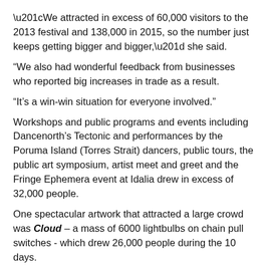“We attracted in excess of 60,000 visitors to the 2013 festival and 138,000 in 2015, so the number just keeps getting bigger and bigger,” she said.
“We also had wonderful feedback from businesses who reported big increases in trade as a result.
“It’s a win-win situation for everyone involved.”
Workshops and public programs and events including Dancenorth’s Tectonic and performances by the Poruma Island (Torres Strait) dancers, public tours, the public art symposium, artist meet and greet and the Fringe Ephemera event at Idalia drew in excess of 32,000 people.
One spectacular artwork that attracted a large crowd was Cloud – a mass of 6000 lightbulbs on chain pull switches - which drew 26,000 people during the 10 days.
Schools were also heavily involved in Strand Ephemera this year with about 2000 bookings from schools within the Townsville catchment as well as groups travelling from Ayr, Charters Towers, Bowen and Innisfail.
“To see so many visitors, particularly young families, flooding to The Strand, lapping up our perfect winter weather and